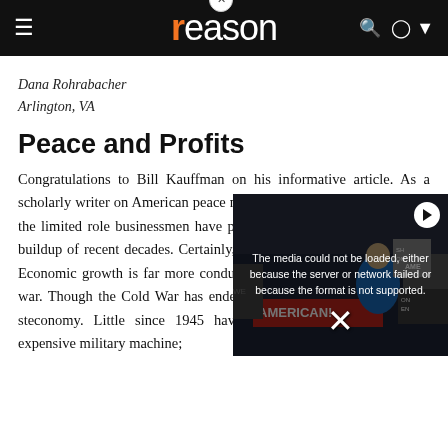reason
Dana Rohrabacher
Arlington, VA
Peace and Profits
Congratulations to Bill Kauffman on his informative article. As a scholarly writer on American peace movements, I have been struck by the limited role businessmen have played in questioning the military buildup of recent decades. Certainly, there is no good reason for this. Economic growth is far more conducive to prosperity than in one of war. Though the Cold War has ended in cold, the cons... profits by the st... economy. Little ... since 1945 have ... economy rather than into an expensive military machine;
[Figure (screenshot): Video player overlay showing error message: 'The media could not be loaded, either because the server or network failed or because the format is not supported.' with a protest photo in background showing demonstrators with signs reading 'AMERICAN' and other placards.]